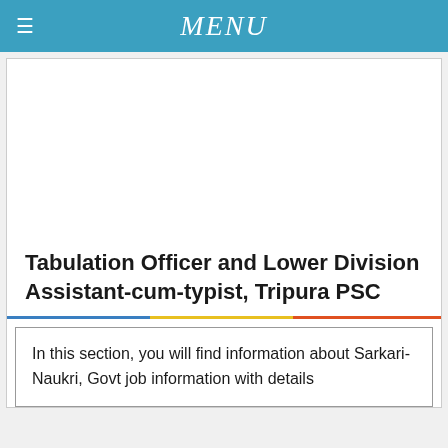MENU
Tabulation Officer and Lower Division Assistant-cum-typist, Tripura PSC
In this section, you will find information about Sarkari-Naukri, Govt job information with details